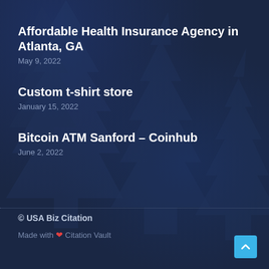Affordable Health Insurance Agency in Atlanta, GA
May 9, 2022
Custom t-shirt store
January 15, 2022
Bitcoin ATM Sanford – Coinhub
June 2, 2022
© USA Biz Citation
Made with ❤ Citation Vault